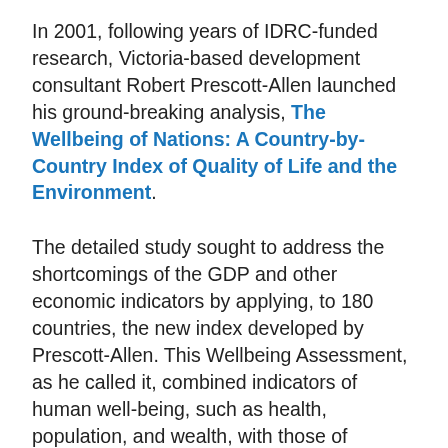In 2001, following years of IDRC-funded research, Victoria-based development consultant Robert Prescott-Allen launched his ground-breaking analysis, The Wellbeing of Nations: A Country-by-Country Index of Quality of Life and the Environment.
The detailed study sought to address the shortcomings of the GDP and other economic indicators by applying, to 180 countries, the new index developed by Prescott-Allen. This Wellbeing Assessment, as he called it, combined indicators of human well-being, such as health, population, and wealth, with those of environmental sustainability — water quality, species diversity, and energy use — to generate a more integrated picture of the condition of the world.
Much as the white of an egg surrounds and supports its